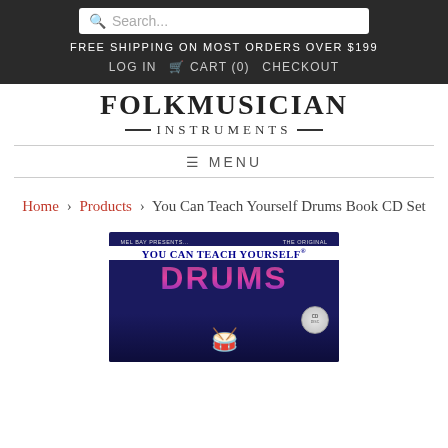Search... | FREE SHIPPING ON MOST ORDERS OVER $199 | LOG IN  CART (0)  CHECKOUT
[Figure (logo): FolkMusician Instruments logo with decorative lines]
MENU
Home › Products › You Can Teach Yourself Drums Book CD Set
[Figure (photo): Book cover: Mel Bay Presents... The Original You Can Teach Yourself Drums - showing drummer cartoon with CD disc badge]